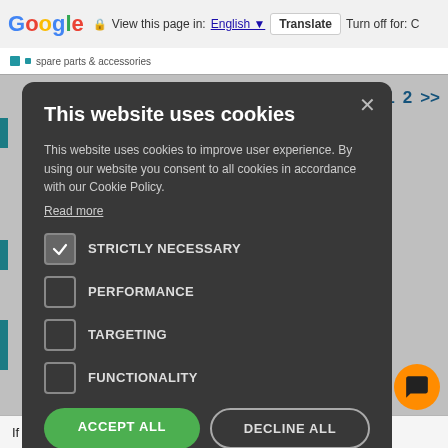Google  View this page in: English  Translate  Turn off for: C
spare parts & accessories
1  2  >>
This website uses cookies
This website uses cookies to improve user experience. By using our website you consent to all cookies in accordance with our Cookie Policy.
Read more
STRICTLY NECESSARY
PERFORMANCE
TARGETING
FUNCTIONALITY
ACCEPT ALL
DECLINE ALL
SHOW DETAILS
If you have any questions, please use our contact form.